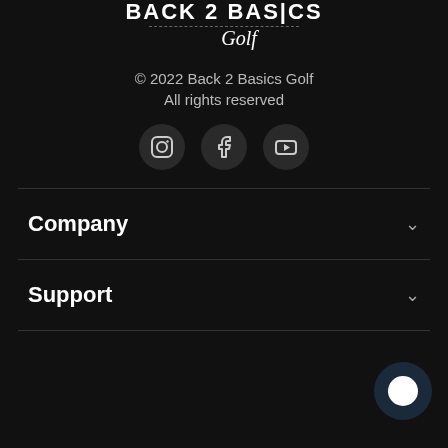[Figure (logo): Back 2 Basics Golf logo with bold text and italic cursive 'Golf' below]
© 2022 Back 2 Basics Golf
All rights reserved
[Figure (other): Three social media icons in dark circles: Instagram, Facebook, YouTube]
Company
Support